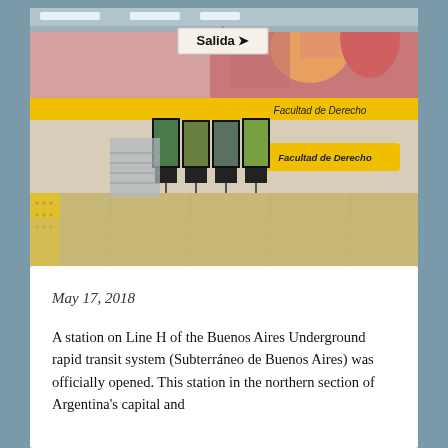[Figure (photo): Interior of Facultad de Derecho station on Line H of the Buenos Aires Underground (Subte). The platform shows a modern subway station with yellow and black striped tactile strip along the platform edge, a 'Salida' (exit) sign hanging from the ceiling, multiple digital display screens on stands, and large 'Facultad de Derecho' yellow station name signs on the wall. A colorful mural is visible along the upper wall. The station appears empty and well-lit.]
May 17, 2018
A station on Line H of the Buenos Aires Underground rapid transit system (Subterráneo de Buenos Aires) was officially opened. This station in the northern section of Argentina's capital and